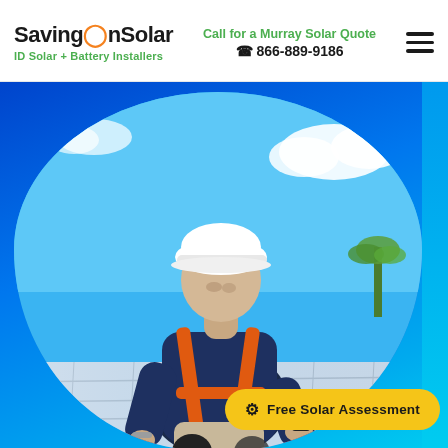[Figure (logo): SavingOnSolar logo with orange sun-style O, black text, and green subtitle 'ID Solar + Battery Installers']
Call for a Murray Solar Quote
☎ 866-889-9186
[Figure (photo): Solar installer in white hard hat and orange safety harness crouching on a rooftop, drilling into solar panels with a power drill. Blue sky with clouds in background.]
Free Solar Assessment